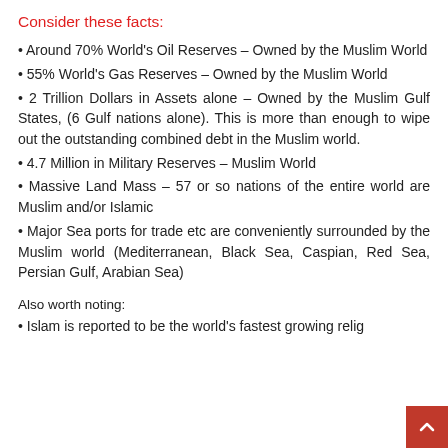Consider these facts:
Around 70% World's Oil Reserves – Owned by the Muslim World
55% World's Gas Reserves – Owned by the Muslim World
2 Trillion Dollars in Assets alone – Owned by the Muslim Gulf States, (6 Gulf nations alone). This is more than enough to wipe out the outstanding combined debt in the Muslim world.
4.7 Million in Military Reserves – Muslim World
Massive Land Mass – 57 or so nations of the entire world are Muslim and/or Islamic
Major Sea ports for trade etc are conveniently surrounded by the Muslim world (Mediterranean, Black Sea, Caspian, Red Sea, Persian Gulf, Arabian Sea)
Also worth noting:
Islam is reported to be the world's fastest growing relig